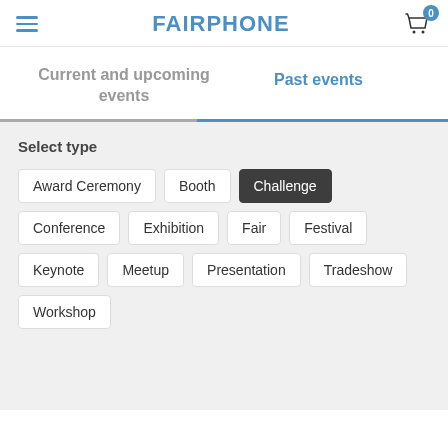FAIRPHONE
Current and upcoming events
Past events
Select type
Award Ceremony
Booth
Challenge
Conference
Exhibition
Fair
Festival
Keynote
Meetup
Presentation
Tradeshow
Workshop